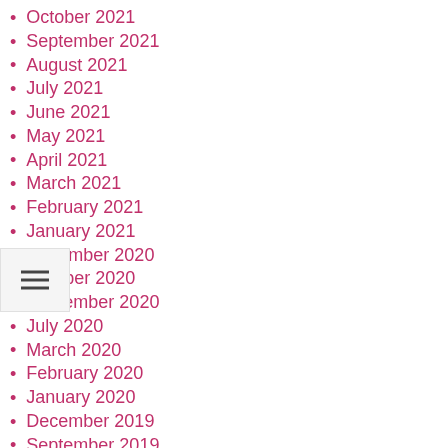October 2021
September 2021
August 2021
July 2021
June 2021
May 2021
April 2021
March 2021
February 2021
January 2021
November 2020
October 2020
September 2020
July 2020
March 2020
February 2020
January 2020
December 2019
September 2019